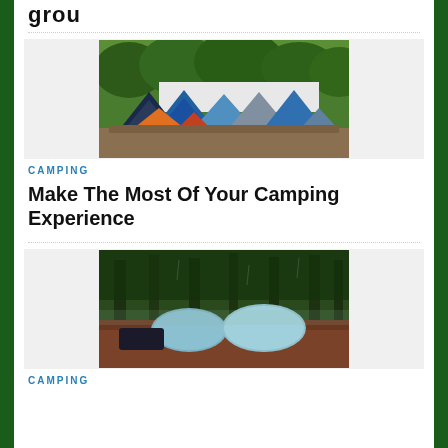grou
[Figure (photo): Aerial view of a festival campsite with many colorful tents packed together, trees in the background]
CAMPING
Make The Most Of Your Camping Experience
[Figure (photo): Two light blue/grey tents set up in a forest with tall dark green trees, on reddish-brown ground]
CAMPING